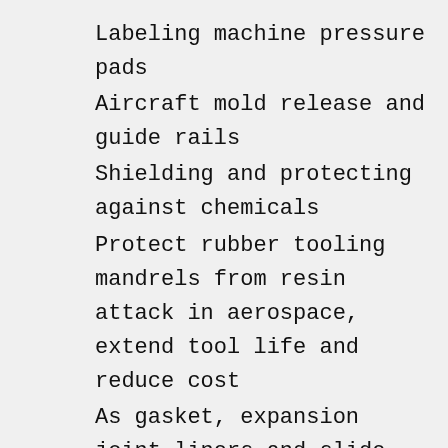Labeling machine pressure pads
Aircraft mold release and guide rails
Shielding and protecting against chemicals
Protect rubber tooling mandrels from resin attack in aerospace, extend tool life and reduce cost
As gasket, expansion joint liners and slide bearing due to is low friction surface
Coil wraps, separators, transformer, slot liners and hardness wrapping
PCB's protective liner
RF cable production
Semiconductor processing
Wrap roller for printing machine to prevent ink build up
improve surface movement, reduce